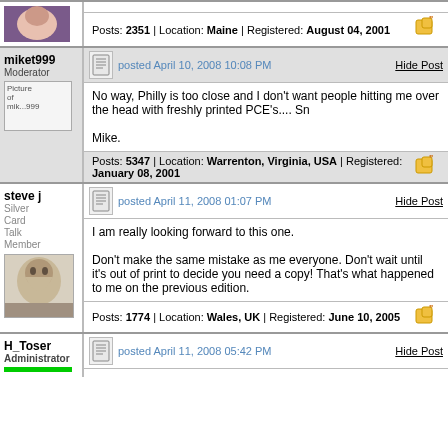Posts: 2351 | Location: Maine | Registered: August 04, 2001
miket999 Moderator
posted April 10, 2008 10:08 PM
No way, Philly is too close and I don't want people hitting me over the head with freshly printed PCE's.... Sn

Mike.
Posts: 5347 | Location: Warrenton, Virginia, USA | Registered: January 08, 2001
steve j Silver Card Talk Member
posted April 11, 2008 01:07 PM
I am really looking forward to this one.

Don't make the same mistake as me everyone. Don't wait until it's out of print to decide you need a copy! That's what happened to me on the previous edition.
Posts: 1774 | Location: Wales, UK | Registered: June 10, 2005
H_Toser Administrator
posted April 11, 2008 05:42 PM